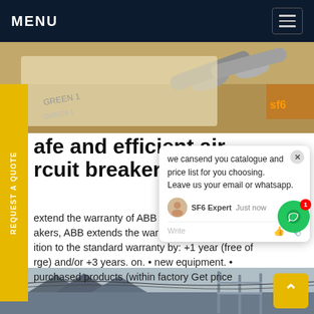MENU
[Figure (photo): Industrial components (cylinders/pipes) lying on dry grass, photographed from above]
safe and efficient air circuit breaker spare parts
extend the warranty of ABB Low Voltage circuit breakers, ABB extends the warranty to customers in addition to the standard warranty by: +1 year (free of charge) and/or +3 years. on. • new equipment. • purchased products (within factory Get price
[Figure (photo): Industrial electrical infrastructure with wooden poles and scaffolding structures]